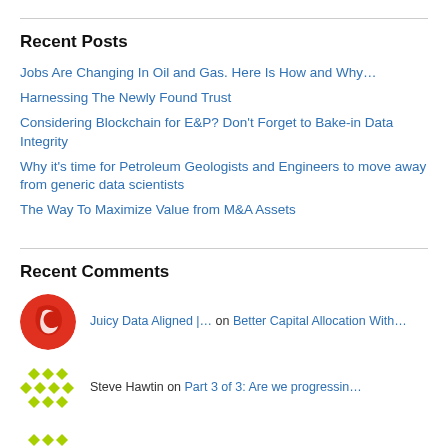Recent Posts
Jobs Are Changing In Oil and Gas. Here Is How and Why…
Harnessing The Newly Found Trust
Considering Blockchain for E&P? Don't Forget to Bake-in Data Integrity
Why it's time for Petroleum Geologists and Engineers to move away from generic data scientists
The Way To Maximize Value from M&A Assets
Recent Comments
Juicy Data Aligned |… on Better Capital Allocation With…
Steve Hawtin on Part 3 of 3: Are we progressin…
Steve Hawtin on Part 2: Are we progressing? Oi…